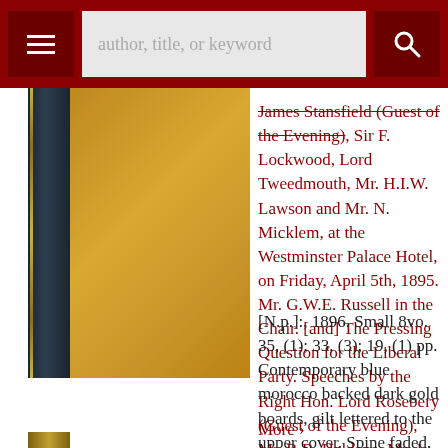author, title, or keyword
[Figure (photo): A book with dark spine and tan/gold boards, photographed against a white background.]
James Stansfield (Guest of the Evening), Sir F. Lockwood, Lord Tweedmouth, Mr. H.I.W. Lawson and Mr. N. Micklem, at the Westminster Palace Hotel, on Friday, April 5th, 1895. Mr. G.W.E. Russell in the Chair. [and] The Pressing Question for the Liberal Party. Speeches by the Right Hon. Lord Rosebery (Guest of the Evening), Mr. R.B. Haldane, Mr. J. Lawson Walton, and Mr W.B. Duffield at the Royal Society of British Artists... On Tuesday, 2nd July, 1895. Mr R.B. Haldane in the Chair.
[N.p.]:, 1896. Small 8vo. 35, (1); 33, (3); 19, (1) pp. Contemporary blue morocco backed dark gold boards, gilt lettered to the upper cover. Spine faded, the head worn with loss.
More ›